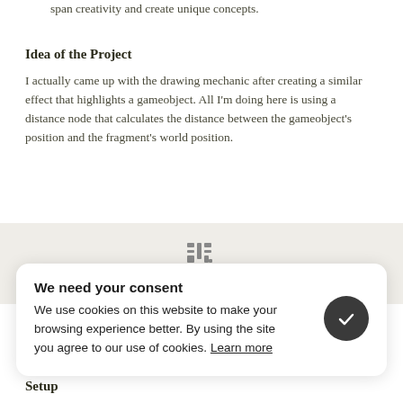span creativity and create unique concepts.
Idea of the Project
I actually came up with the drawing mechanic after creating a similar effect that highlights a gameobject. All I'm doing here is using a distance node that calculates the distance between the gameobject's position and the fragment's world position.
[Figure (logo): A small pixel-art style logo icon in gray]
We need your consent
We use cookies on this website to make your browsing experience better. By using the site you agree to our use of cookies. Learn more
Setup